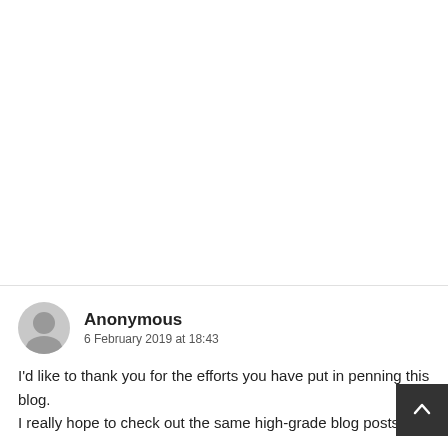Anonymous
6 February 2019 at 18:43
I'd like to thank you for the efforts you have put in penning this blog.
I really hope to check out the same high-grade blog posts